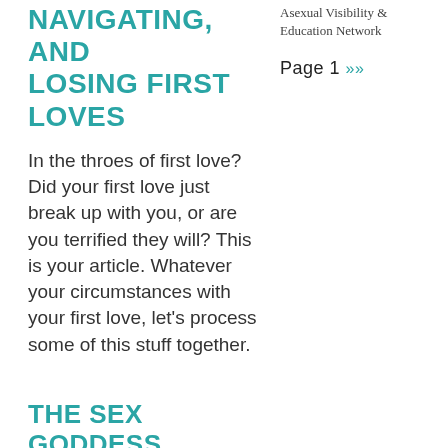NAVIGATING, AND LOSING FIRST LOVES
Asexual Visibility & Education Network
Page 1 »»
In the throes of first love? Did your first love just break up with you, or are you terrified they will? This is your article. Whatever your circumstances with your first love, let's process some of this stuff together.
THE SEX GODDESS